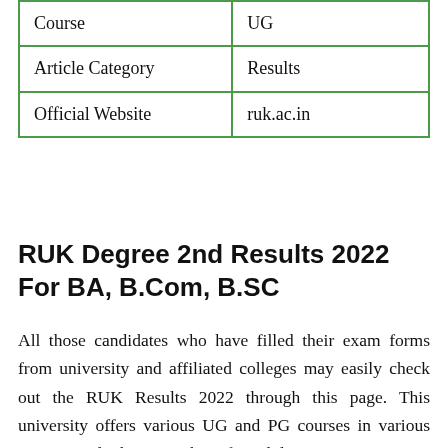| Course | UG |
| Article Category | Results |
| Official Website | ruk.ac.in |
RUK Degree 2nd Results 2022 For BA, B.Com, B.SC
All those candidates who have filled their exam forms from university and affiliated colleges may easily check out the RUK Results 2022 through this page. This university offers various UG and PG courses in various streams and a huge number of candidates were every year admitted to this university through